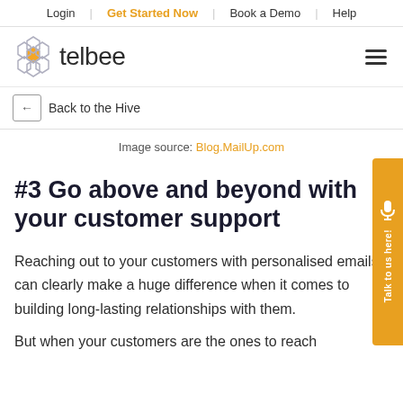Login | Get Started Now | Book a Demo | Help
[Figure (logo): Telbee honeycomb logo with text 'telbee' and hamburger menu icon]
← Back to the Hive
Image source: Blog.MailUp.com
#3 Go above and beyond with your customer support
Reaching out to your customers with personalised emails can clearly make a huge difference when it comes to building long-lasting relationships with them.
But when your customers are the ones to reach...